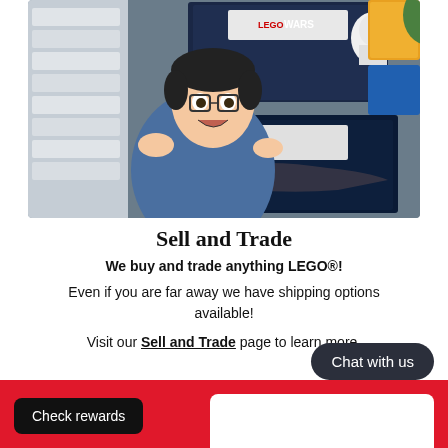[Figure (photo): A young man with glasses and an excited open-mouthed expression holds up two LEGO Star Wars sets in a store setting with shelves of LEGO products in the background.]
Sell and Trade
We buy and trade anything LEGO®!
Even if you are far away we have shipping options available!
Visit our Sell and Trade page to learn more.
Chat with us
Check rewards